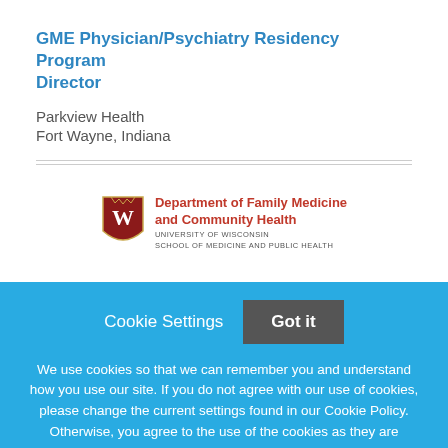GME Physician/Psychiatry Residency Program Director
Parkview Health
Fort Wayne, Indiana
[Figure (logo): University of Wisconsin Department of Family Medicine and Community Health shield logo with red crest and text]
Cookie Settings  Got it
We use cookies so that we can remember you and understand how you use our site. If you do not agree with our use of cookies, please change the current settings found in our Cookie Policy. Otherwise, you agree to the use of the cookies as they are currently set.